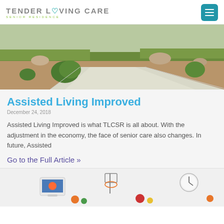TENDER LOVING CARE SENIOR RESIDENCE
[Figure (photo): Outdoor landscaped pathway with gravel, plants, and a concrete walkway]
Assisted Living Improved
December 24, 2018
Assisted Living Improved is what TLCSR is all about. With the adjustment in the economy, the face of senior care also changes. In future, Assisted
Go to the Full Article »
[Figure (photo): Bottom strip showing partial product/toy images]